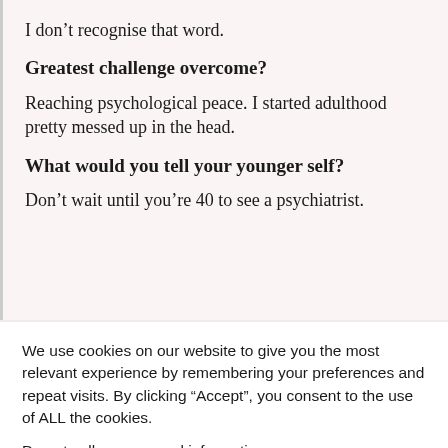I don’t recognise that word.
Greatest challenge overcome?
Reaching psychological peace. I started adulthood pretty messed up in the head.
What would you tell your younger self?
Don’t wait until you’re 40 to see a psychiatrist.
We use cookies on our website to give you the most relevant experience by remembering your preferences and repeat visits. By clicking “Accept”, you consent to the use of ALL the cookies.
Do not sell my personal information.
Cookie Settings | Accept